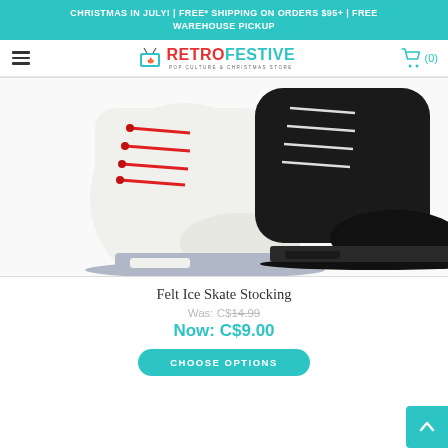CHRISTMAS IN JULY! | FREE* SHIPPING ON ORDERS $95+ | FREE WAREHOUSE PICKUP
[Figure (logo): RetroFestive Pop Culture & Christmas Store logo with hamburger menu and shopping cart icon showing (0) items]
[Figure (photo): Two felt ice skate stockings side by side: a white ice skate on the left with red laces and a grey blade, and a black ice skate on the right with white laces and a black blade]
Felt Ice Skate Stocking
Was: C$14.99
Now: C$9.00
CHOOSE OPTIONS